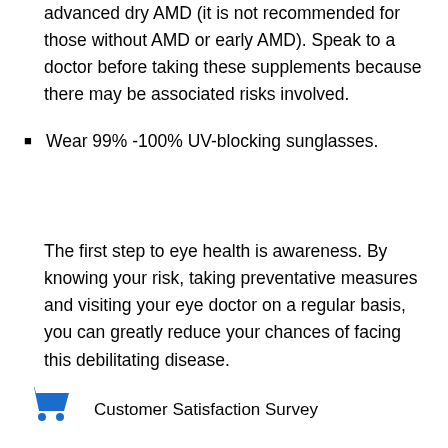advanced dry AMD (it is not recommended for those without AMD or early AMD). Speak to a doctor before taking these supplements because there may be associated risks involved.
Wear 99% -100% UV-blocking sunglasses.
The first step to eye health is awareness. By knowing your risk, taking preventative measures and visiting your eye doctor on a regular basis, you can greatly reduce your chances of facing this debilitating disease.
[Figure (illustration): Blue shopping cart icon with text 'Customer Satisfaction Survey']